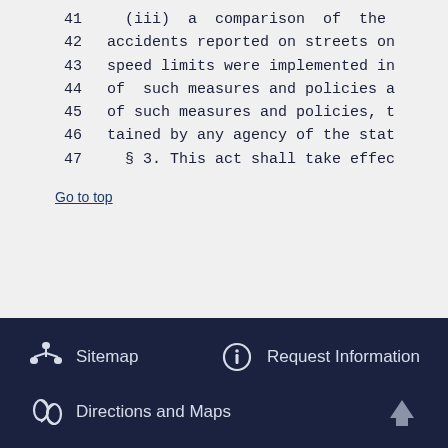41    (iii) a comparison of the
42  accidents reported on streets on
43  speed limits were implemented in
44  of  such measures and policies a
45  of such measures and policies, t
46  tained by any agency of the stat
47    § 3. This act shall take effec
Go to top
Sitemap  Request Information  Directions and Maps